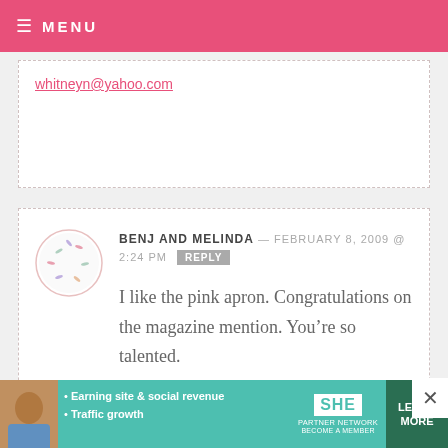MENU
whitneyn@yahoo.com
BENJ AND MELINDA — FEBRUARY 8, 2009 @ 2:24 PM REPLY
I like the pink apron. Congratulations on the magazine mention. You’re so talented.
MARTHA.BLOG.EMAIL — FEBRUARY 8, 2009 @ 2:23 PM REPLY
[Figure (infographic): SHE Partner Network advertisement banner with photo, text about earning site and social revenue and traffic growth, SHE logo, and Learn More button]